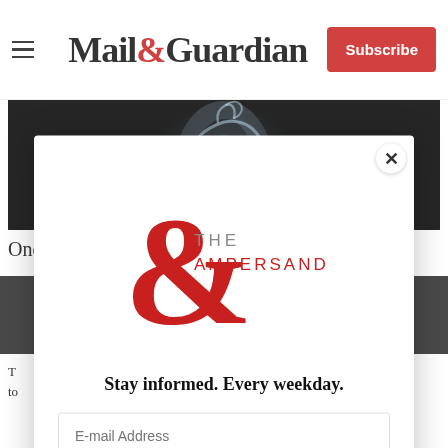Mail&Guardian | Subscribe
[Figure (photo): Dark background with glowing translucent horse figure in white/blue light]
One Album, Two Takes: ‘Renaissance’
[Figure (infographic): Modal popup: The Ampersand newsletter signup. Logo with red ampersand symbol and text 'THE AMPERSAND'. Tagline: Stay informed. Every weekday. Email address input field. Signup now button.]
T... n to...